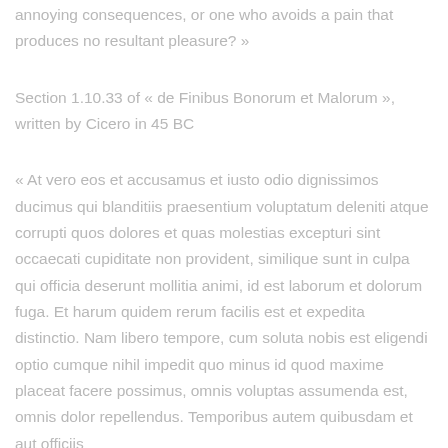annoying consequences, or one who avoids a pain that produces no resultant pleasure? »
Section 1.10.33 of « de Finibus Bonorum et Malorum », written by Cicero in 45 BC
« At vero eos et accusamus et iusto odio dignissimos ducimus qui blanditiis praesentium voluptatum deleniti atque corrupti quos dolores et quas molestias excepturi sint occaecati cupiditate non provident, similique sunt in culpa qui officia deserunt mollitia animi, id est laborum et dolorum fuga. Et harum quidem rerum facilis est et expedita distinctio. Nam libero tempore, cum soluta nobis est eligendi optio cumque nihil impedit quo minus id quod maxime placeat facere possimus, omnis voluptas assumenda est, omnis dolor repellendus. Temporibus autem quibusdam et aut officiis